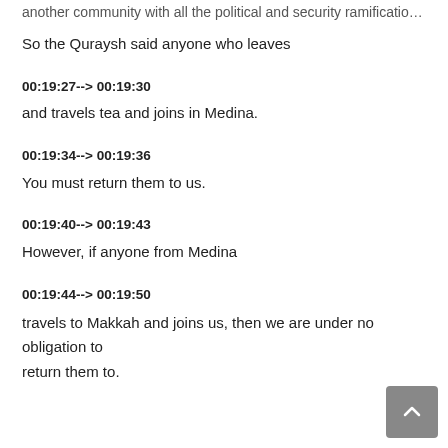another community with all the political and security ramifications.
So the Quraysh said anyone who leaves
00:19:27--> 00:19:30
and travels tea and joins in Medina.
00:19:34--> 00:19:36
You must return them to us.
00:19:40--> 00:19:43
However, if anyone from Medina
00:19:44--> 00:19:50
travels to Makkah and joins us, then we are under no obligation to return them to.